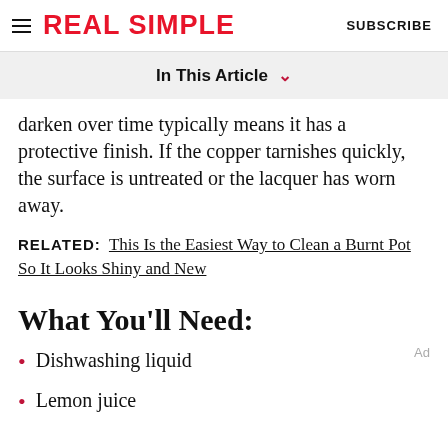REAL SIMPLE   SUBSCRIBE
In This Article
darken over time typically means it has a protective finish. If the copper tarnishes quickly, the surface is untreated or the lacquer has worn away.
RELATED:  This Is the Easiest Way to Clean a Burnt Pot So It Looks Shiny and New
What You'll Need:
Dishwashing liquid
Lemon juice